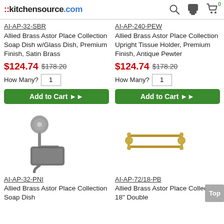::kitchensource.com
AI-AP-32-SBR
Allied Brass Astor Place Collection Soap Dish w/Glass Dish, Premium Finish, Satin Brass
$124.74 $178.20
How Many? 1
Add to Cart ▶▶
AI-AP-240-PEW
Allied Brass Astor Place Collection Upright Tissue Holder, Premium Finish, Antique Pewter
$124.74 $178.20
How Many? 1
Add to Cart ▶▶
[Figure (photo): Wall-mounted soap dish with bracket, dark nickel finish]
AI-AP-32-PNI
Allied Brass Astor Place Collection Soap Dish
[Figure (photo): Double towel bar in polished brass finish]
AI-AP-72/18-PB
Allied Brass Astor Place Collection 18" Double